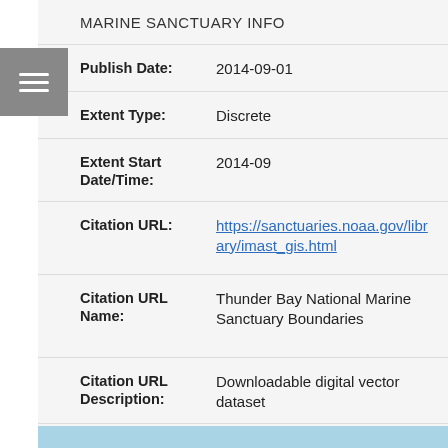| Field | Value |
| --- | --- |
| Publish Date: | 2014-09-01 |
| Extent Type: | Discrete |
| Extent Start Date/Time: | 2014-09 |
| Citation URL: | https://sanctuaries.noaa.gov/library/imast_gis.html |
| Citation URL Name: | Thunder Bay National Marine Sanctuary Boundaries |
| Citation URL Description: | Downloadable digital vector dataset |
| Source Contribution: | MANAGED_POLY INFO |